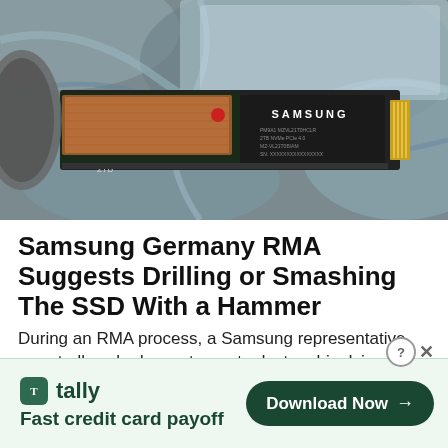[Figure (photo): Photo of a Samsung M.2 NVMe SSD drive (2TB) lying on a gray stone/marble surface with plastic packaging, showing Samsung branding and circuit board details]
Samsung Germany RMA Suggests Drilling or Smashing The SSD With a Hammer
During an RMA process, a Samsung representative reportedly asked a customer to destroy his dying …
Tomshardware
[Figure (infographic): Tally app advertisement banner: tally logo with green icon, tagline 'Fast credit card payoff', Download Now button with arrow]